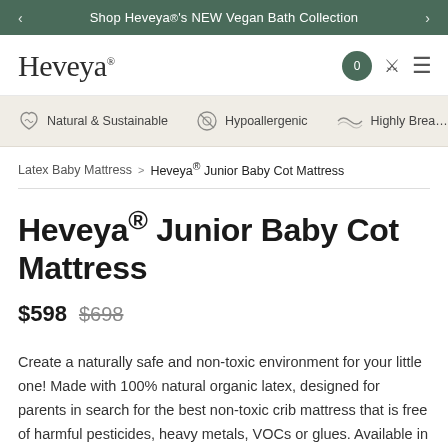Shop Heveya®'s NEW Vegan Bath Collection
Heveya®
Natural & Sustainable   Hypoallergenic   Highly Breathable
Latex Baby Mattress > Heveya® Junior Baby Cot Mattress
Heveya® Junior Baby Cot Mattress
$598  $698
Create a naturally safe and non-toxic environment for your little one! Made with 100% natural organic latex, designed for parents in search for the best non-toxic crib mattress that is free of harmful pesticides, heavy metals, VOCs or glues. Available in standard and custom shapes and sizes.